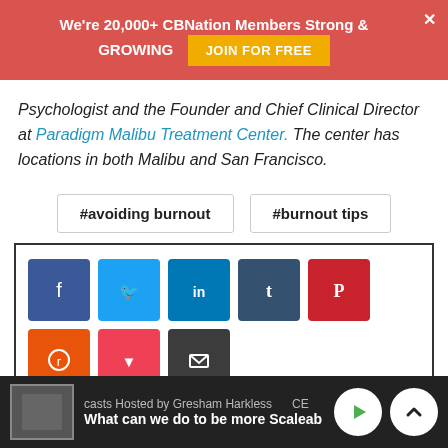We're 20,000+ CBNation Members Strong & GROWING  JOIN FOR FREE
Psychologist and the Founder and Chief Clinical Director at Paradigm Malibu Treatment Center. The center has locations in both Malibu and San Francisco.
#avoiding burnout
#burnout tips
[Figure (infographic): Social share buttons: Facebook, Twitter, LinkedIn, Tumblr, Pinterest, Reddit, Pocket, Email, Print]
casts Hosted by Gresham Harkless  CE  What can we do to be more Scaleab